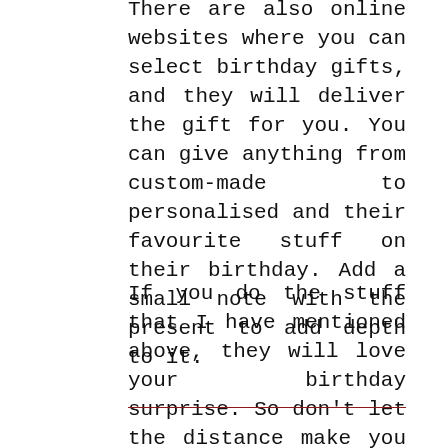There are also online websites where you can select birthday gifts, and they will deliver the gift for you. You can give anything from custom-made to personalised and their favourite stuff on their birthday. Add a small note with the present to add depth to it.
If you do the stuff that I have mentioned above, they will love your birthday surprise. So don't let the distance make you feel a part, and start planning their birthday right away.